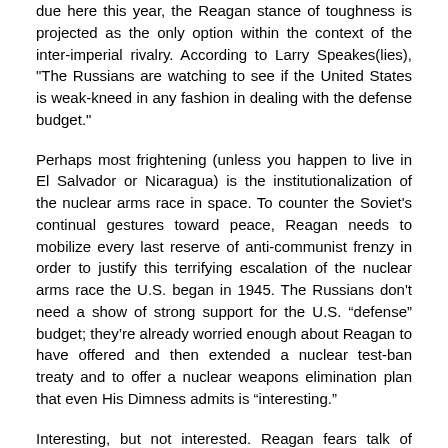due here this year, the Reagan stance of toughness is projected as the only option within the context of the inter-imperial rivalry. According to Larry Speakes(lies), "The Russians are watching to see if the United States is weak-kneed in any fashion in dealing with the defense budget."
Perhaps most frightening (unless you happen to live in El Salvador or Nicaragua) is the institutionalization of the nuclear arms race in space. To counter the Soviet's continual gestures toward peace, Reagan needs to mobilize every last reserve of anti-communist frenzy in order to justify this terrifying escalation of the nuclear arms race the U.S. began in 1945. The Russians don't need a show of strong support for the U.S. “defense” budget; they’re already worried enough about Reagan to have offered and then extended a nuclear test-ban treaty and to offer a nuclear weapons elimination plan that even His Dimness admits is “interesting.”
Interesting, but not interested. Reagan fears talk of disarmament like Dracula fears the dawn, for it is in preparation for war that his vaunted economic recovery lies. The transfer of public tax funds for the wars in Central America is awesome enough but pales before the intended expenditures for Star Wars. Costs as high as $1.5 trillion are bandied about for a fully-deployed system and with 1,500 contracts in the immediate offing, it takes no great